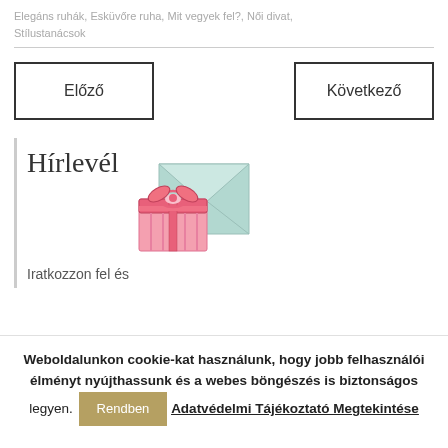Elegáns ruhák, Esküvőre ruha, Mit vegyek fel?, Női divat, Stílustanácsok
Előző
Következő
[Figure (illustration): Hírlevél newsletter illustration with a pink gift box and a mint-colored envelope]
Hírlevél
Iratkozzon fel és
Weboldalunkon cookie-kat használunk, hogy jobb felhasználói élményt nyújthassunk és a webes böngészés is biztonságos legyen.
Rendben
Adatvédelmi Tájékoztató Megtekintése